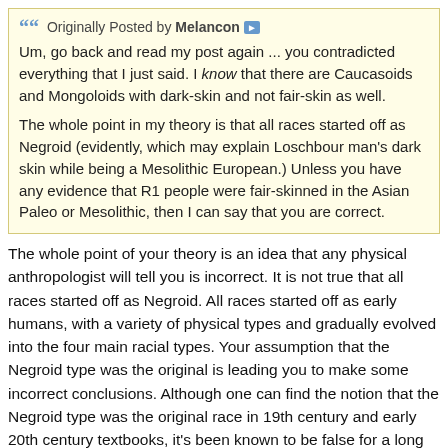Originally Posted by Melancon
Um, go back and read my post again ... you contradicted everything that I just said. I know that there are Caucasoids and Mongoloids with dark-skin and not fair-skin as well.

The whole point in my theory is that all races started off as Negroid (evidently, which may explain Loschbour man's dark skin while being a Mesolithic European.) Unless you have any evidence that R1 people were fair-skinned in the Asian Paleo or Mesolithic, then I can say that you are correct.
The whole point of your theory is an idea that any physical anthropologist will tell you is incorrect. It is not true that all races started off as Negroid. All races started off as early humans, with a variety of physical types and gradually evolved into the four main racial types. Your assumption that the Negroid type was the original is leading you to make some incorrect conclusions. Although one can find the notion that the Negroid type was the original race in 19th century and early 20th century textbooks, it's been known to be false for a long time. The Negroid type evolved in Africa but it is a distinct type, not the ancestor of other races.